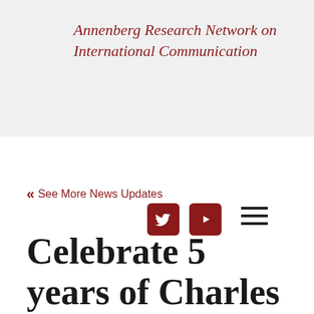Annenberg Research Network on International Communication
[Figure (logo): Twitter icon (white bird on dark red rounded square) and YouTube icon (white play button on dark red rounded square)]
[Figure (other): Hamburger menu icon (three horizontal lines)]
« See More News Updates
Celebrate 5 years of Charles Benton Early